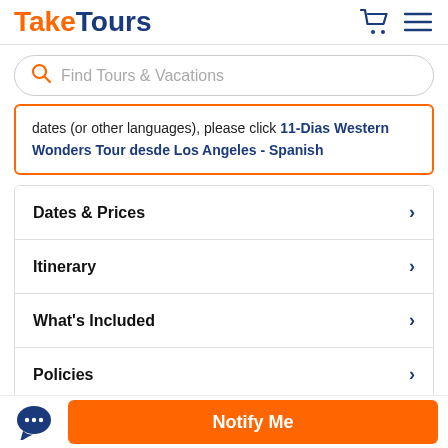TakeTours
dates (or other languages), please click 11-Dias Western Wonders Tour desde Los Angeles - Spanish
Dates & Prices
Itinerary
What's Included
Policies
Q & A
Notify Me